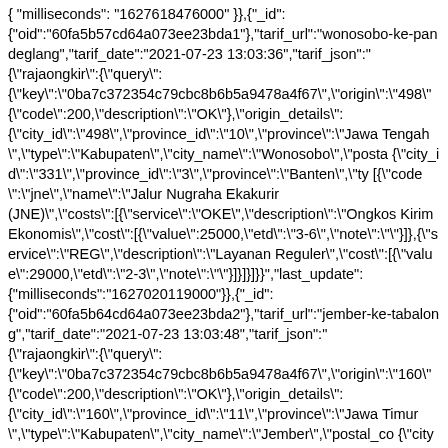{ "milliseconds": "1627618476000" }},{"_id": {"oid":"60fa5b57cd64a073ee23bda1"},"tarif_url":"wonosobo-ke-pandeglang","tarif_date":"2021-07-23 13:03:36","tarif_json":"{\"rajaongkir\":{\"query\": {\"key\":\"0ba7c372354c79cbc8b6b5a9478a4f67\",\"origin\":\"498\"{\"code\":200,\"description\":\"OK\"},\"origin_details\": {\"city_id\":\"498\",\"province_id\":\"10\",\"province\":\"Jawa Tengah\",\"type\":\"Kabupaten\",\"city_name\":\"Wonosobo\",\"posta {\"city_id\":\"331\",\"province_id\":\"3\",\"province\":\"Banten\",\"ty [{\"code\":\"jne\",\"name\":\"Jalur Nugraha Ekakurir (JNE)\",\"costs\":[{\"service\":\"OKE\",\"description\":\"Ongkos Kirim Ekonomis\",\"cost\":[{\"value\":25000,\"etd\":\"3-6\",\"note\":\"\"}]},{\"service\":\"REG\",\"description\":\"Layanan Reguler\",\"cost\":[{\"value\":29000,\"etd\":\"2-3\",\"note\":\"\"}]}]}]}}","last_update": {"milliseconds":"1627020119000"}},{"_id": {"oid":"60fa5b64cd64a073ee23bda2"},"tarif_url":"jember-ke-tabalong","tarif_date":"2021-07-23 13:03:48","tarif_json":"{\"rajaongkir\":{\"query\": {\"key\":\"0ba7c372354c79cbc8b6b5a9478a4f67\",\"origin\":\"160\"{\"code\":200,\"description\":\"OK\"},\"origin_details\": {\"city_id\":\"160\",\"province_id\":\"11\",\"province\":\"Jawa Timur\",\"type\":\"Kabupaten\",\"city_name\":\"Jember\",\"postal_co {\"city_id\":\"446\",\"province_id\":\"13\",\"province\":\"Kalimantan Selatan\",\"type\":\"Kabupaten\",\"city_name\":\"Tabalong\",\"postal [{\"code\":\"jne\",\"name\":\"Jalur Nugraha Ekakurir